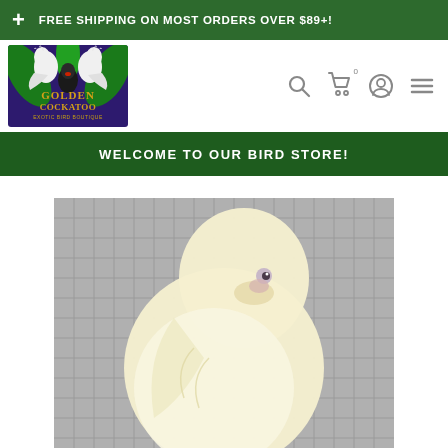+ FREE SHIPPING ON MOST ORDERS OVER $89+!
[Figure (logo): Golden Cockatoo Exotic Bird Boutique logo with two white cockatoos on a blue/purple background with golden text]
WELCOME TO OUR BIRD STORE!
[Figure (photo): Close-up photo of a white/cream colored bird (likely an albino or lutino parakeet/parrot) against a cage/grid background]